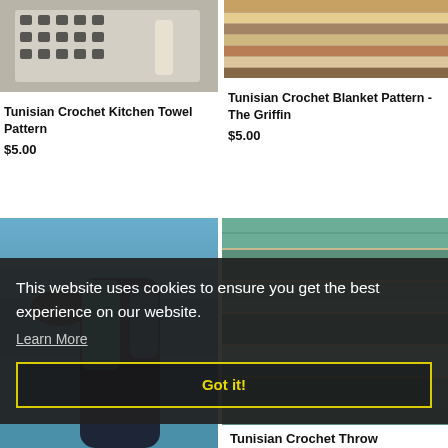[Figure (photo): Tunisian crochet kitchen towel with black and white pattern hanging on a wall]
Tunisian Crochet Kitchen Towel Pattern
$5.00
[Figure (photo): Colorful striped Tunisian crochet blanket folded on a surface]
Tunisian Crochet Blanket Pattern - The Griffin
$5.00
[Figure (photo): Woman wearing a teal and dark crochet cardigan standing by the ocean]
[Figure (photo): Close-up of Tunisian crochet throw blanket in teal and multicolor]
This website uses cookies to ensure you get the best experience on our website.
Learn More
Got it!
Tunisian Crochet Throw